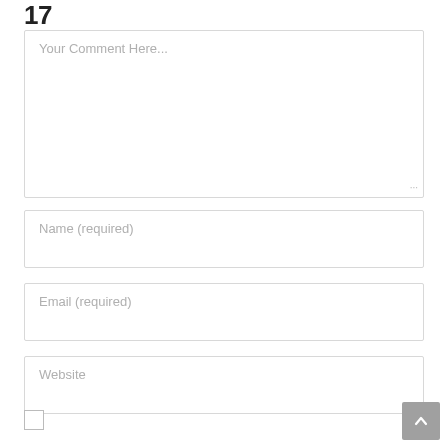Your Comment Here...
Name (required)
Email (required)
Website